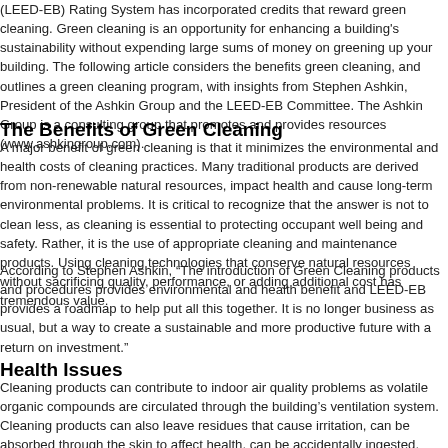(LEED-EB) Rating System has incorporated credits that reward green cleaning. Green cleaning is an opportunity for enhancing a building's sustainability without expending large sums of money on greening up your building. The following article considers the benefits green cleaning, and outlines a green cleaning program, with insights from Stephen Ashkin, President of the Ashkin Group and the LEED-EB Committee. The Ashkin Group is a consulting group that promotes and provides resources (www.ashkingroup.com).
The Benefits of Green Cleaning
A major benefit of green cleaning is that it minimizes the environmental and health costs of cleaning practices. Many traditional products are derived from non-renewable natural resources, impact health and cause long-term environmental problems. It is critical to recognize that the answer is not to clean less, as cleaning is essential to protecting occupant well being and safety. Rather, it is the use of appropriate cleaning and maintenance products. Using cleaning technologies that conserve natural resources without sacrificing quality, performance, or adding additional cost has tremendous value.
According to Stephen Ashkin, “The introduction of Green Cleaning products and procedures provides environmental and health benefit and LEED-EB provides a roadmap to help put all this together. It is no longer business as usual, but a way to create a sustainable and more productive future with a return on investment.”
Health Issues
Cleaning products can contribute to indoor air quality problems as volatile organic compounds are circulated through the building’s ventilation system. Cleaning products can also leave residues that cause irritation, can be absorbed through the skin to affect health, can be accidentally ingested,